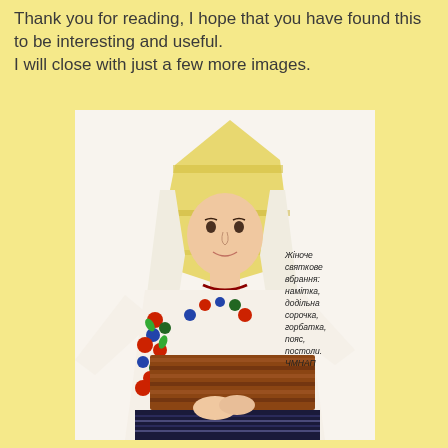Thank you for reading, I hope that you have found this to be interesting and useful.
I will close with just a few more images.
[Figure (photo): A young woman wearing traditional Ukrainian festive folk costume including a namitka (head covering with yellow and white embroidered fabric draped over the head), a dodilna sorochka (embroidered blouse with floral patterns in red, blue, and green), a horbatka, a poas (wide brown woven belt), and postoly. She is posing against a white background. A Ukrainian caption appears to the right side of the image.]